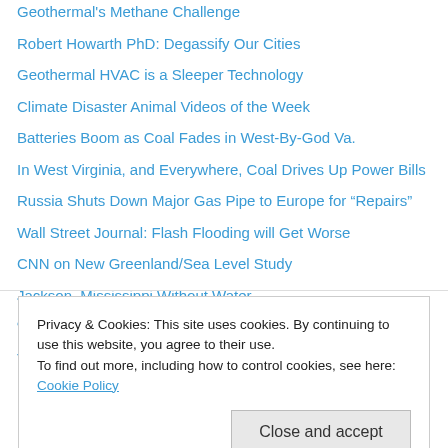Geothermal's Methane Challenge
Robert Howarth PhD: Degassify Our Cities
Geothermal HVAC is a Sleeper Technology
Climate Disaster Animal Videos of the Week
Batteries Boom as Coal Fades in West-By-God Va.
In West Virginia, and Everywhere, Coal Drives Up Power Bills
Russia Shuts Down Major Gas Pipe to Europe for “Repairs”
Wall Street Journal: Flash Flooding will Get Worse
CNN on New Greenland/Sea Level Study
Jackson, Mississippi Without Water
“Unimaginable” Climate Crisis in Pakistan
The New Age of Sail
Privacy & Cookies: This site uses cookies. By continuing to use this website, you agree to their use.
To find out more, including how to control cookies, see here: Cookie Policy